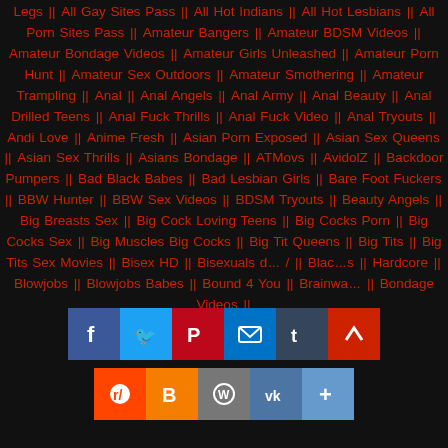Legs || All Gay Sites Pass || All Hot Indians || All Hot Lesbians || All Porn Sites Pass || Amateur Bangers || Amateur BDSM Videos || Amateur Bondage Videos || Amateur Girls Unleashed || Amateur Porn Hunt || Amateur Sex Outdoors || Amateur Smothering || Amateur Trampling || Anal || Anal Angels || Anal Army || Anal Beauty || Anal Drilled Teens || Anal Fuck Thrills || Anal Fuck Video || Anal Tryouts || Andi Love || Anime Fresh || Asian Porn Exposed || Asian Sex Queens || Asian Sex Thrills || Asians Bondage || ATMovs || AvidolZ || Backdoor Pumpers || Bad Black Babes || Bad Lesbian Girls || Bare Foot Fuckers || BBW Hunter || BBW Sex Videos || BDSM Tryouts || Beauty Angels || Big Breasts Sex || Big Cock Loving Teens || Big Cocks Porn || Big Cocks Sex || Big Muscles Big Cocks || Big Tit Queens || Big Tits || Big Tits Sex Movies || Bisex HD || Bisexuals ... || Blac...s Hardcore || Blowjobs || Blowjobs Babes || Bound 4 You || Brainwa... || ... Bondage Videos ||